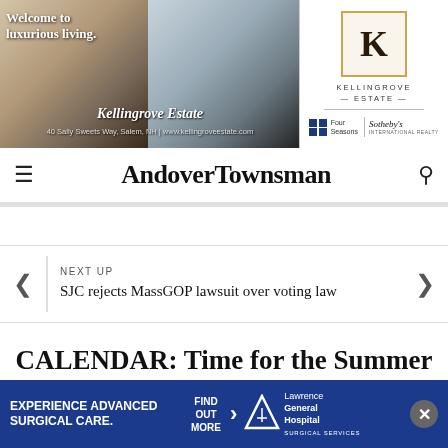[Figure (illustration): Kellingrove Estate luxury real estate advertisement banner showing interior rooms with text 'Welcome to luxurious living. Kellingrove Estate. 40 Sally Sweets Way, Salem, NH | www.kellingroveestate.com' and Kellingrove Estate logo with Four Seasons Sotheby's International Realty branding]
Andover Townsman
NEXT UP
SJC rejects MassGOP lawsuit over voting law
CALENDAR: Time for the Summer Reading Scavenger Hunt
[Figure (illustration): Lawrence General Hospital Surgical Services advertisement: EXPERIENCE ADVANCED SURGICAL CARE. FIND OUT MORE. Lawrence General Hospital Surgical Services logo with triangle graphic.]